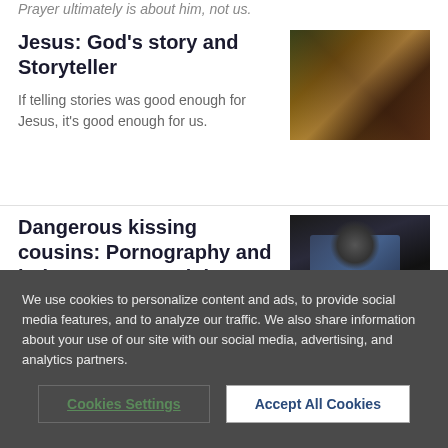Prayer ultimately is about him, not us.
Jesus: God's story and Storyteller
[Figure (photo): Photo of Jesus with people in a colorful outdoor scene]
If telling stories was good enough for Jesus, it's good enough for us.
Dangerous kissing cousins: Pornography and intimate partner violence
[Figure (photo): Person looking at a laptop screen in a dark setting]
A look at the dangerous intersection of
We use cookies to personalize content and ads, to provide social media features, and to analyze our traffic. We also share information about your use of our site with our social media, advertising, and analytics partners.
Cookies Settings
Accept All Cookies